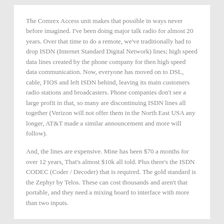The Comrex Access unit makes that possible in ways never before imagined. I've been doing major talk radio for almost 20 years. Over that time to do a remote, we've traditionally had to drop ISDN (Internet Standard Digital Network) lines; high speed data lines created by the phone company for then high speed data communication. Now, everyone has moved on to DSL, cable, FIOS and left ISDN behind, leaving its main customers radio stations and broadcasters. Phone companies don't see a large profit in that, so many are discontinuing ISDN lines all together (Verizon will not offer them in the North East USA any longer, AT&T made a similar announcement and more will follow).
And, the lines are expensive. Mine has been $70 a months for over 12 years, That's almost $10k all told. Plus there's the ISDN CODEC (Coder / Decoder) that is required. The gold standard is the Zephyr by Telos. These can cost thousands and aren't that portable, and they need a mixing board to interface with more than two inputs.